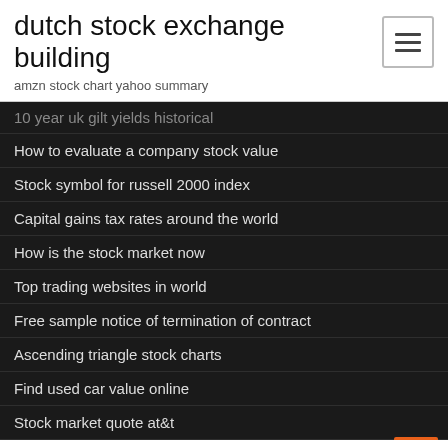dutch stock exchange building
amzn stock chart yahoo summary
10 year uk gilt yields historical
How to evaluate a company stock value
Stock symbol for russell 2000 index
Capital gains tax rates around the world
How is the stock market now
Top trading websites in world
Free sample notice of termination of contract
Ascending triangle stock charts
Find used car value online
Stock market quote at&t